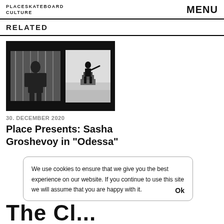PLACESKATEBOARD CULTURE | MENU
RELATED
[Figure (photo): Black and white thumbnail composite: left image shows a person in a cap against architectural metalwork; right image shows a silhouette of a statue on a pedestal against a white sky]
30. DECEMBER 2020
Place Presents: Sasha Groshevoy in “Odessa”
We use cookies to ensure that we give you the best experience on our website. If you continue to use this site we will assume that you are happy with it. Ok
The Cl...